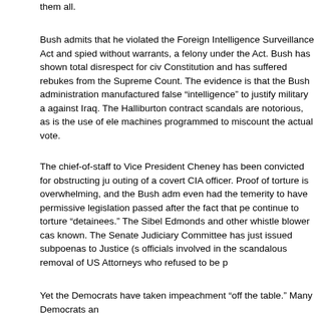them all.
Bush admits that he violated the Foreign Intelligence Surveillance Act and spied without warrants, a felony under the Act. Bush has shown total disrespect for civil Constitution and has suffered rebukes from the Supreme Count. The evidence is that the Bush administration manufactured false “intelligence” to justify military a against Iraq. The Halliburton contract scandals are notorious, as is the use of ele machines programmed to miscount the actual vote.
The chief-of-staff to Vice President Cheney has been convicted for obstructing ju outing of a covert CIA officer. Proof of torture is overwhelming, and the Bush adm even had the temerity to have permissive legislation passed after the fact that pe continue to torture “detainees.” The Sibel Edmonds and other whistle blower cas known. The Senate Judiciary Committee has just issued subpoenas to Justice (s officials involved in the scandalous removal of US Attorneys who refused to be p
Yet the Democrats have taken impeachment “off the table.” Many Democrats an and a great many Christians can contemplate illegal military aggression against impeachment of the greatest criminal administration in US history. Far from being by what the entire world views as an unjust invasion and occupation of Iraq by th Democratic and Republican candidates for the 2008 presidential nomination rush the Israel Lobby, AIPAC, that they, if elected, will keep US troops in Iraq.
The previous occupant of the White House could not escape being impeached b Representatives for lying about a consensual Oval Office sexual affair. President vice president, a saintly pair compared to Bush-Cheney, were both driven from o offenses that are inconsequential by comparison. Liberals branded Ronald Rea